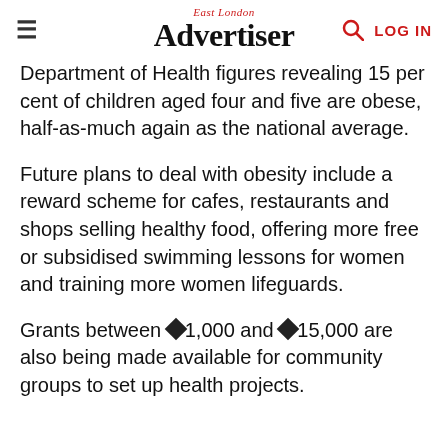East London Advertiser — LOG IN
Department of Health figures revealing 15 per cent of children aged four and five are obese, half-as-much again as the national average.
Future plans to deal with obesity include a reward scheme for cafes, restaurants and shops selling healthy food, offering more free or subsidised swimming lessons for women and training more women lifeguards.
Grants between ◆1,000 and ◆15,000 are also being made available for community groups to set up health projects.